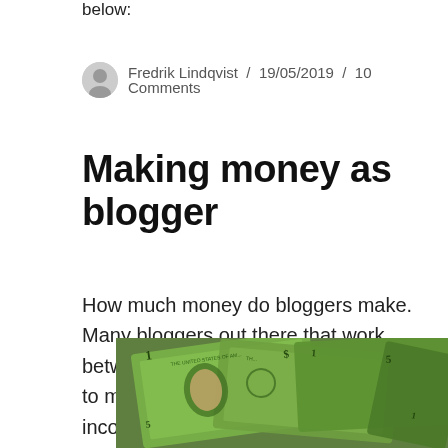below:
Fredrik Lindqvist / 19/05/2019 / 10 Comments
Making money as blogger
How much money do bloggers make. Many bloggers out there that work between 10-30 hours a week are able to make over 200,000$ in yearly income. There is also a smaller group of bloggers that makes millions every year and work less than 10 hours a week. That's of cause bloggers that ave
[Figure (photo): Photo of US dollar bills fanned out]